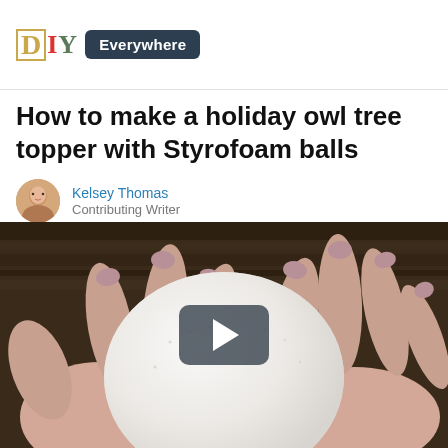DIY Everywhere
How to make a holiday owl tree topper with Styrofoam balls
Kelsey Thomas
Contributing Writer
[Figure (screenshot): Video thumbnail showing two hands with mauve painted nails holding a white Styrofoam ball against a dark wood background, with a play button overlay in the center.]